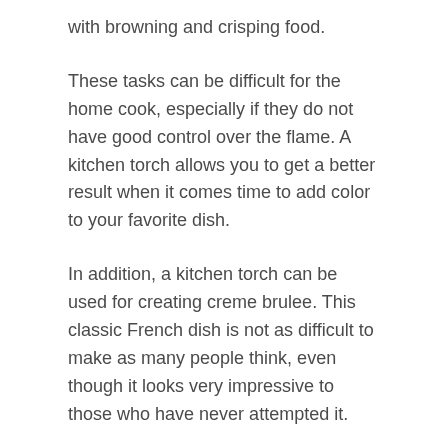with browning and crisping food.
These tasks can be difficult for the home cook, especially if they do not have good control over the flame. A kitchen torch allows you to get a better result when it comes time to add color to your favorite dish.
In addition, a kitchen torch can be used for creating creme brulee. This classic French dish is not as difficult to make as many people think, even though it looks very impressive to those who have never attempted it.
If you enjoy searing steaks, a cooking torch with a powerful flame like the O-Grill Chef's Pro. butane torch should be your first choice. The searing will be more even, and the steak meat surface will be crisp and tasty.